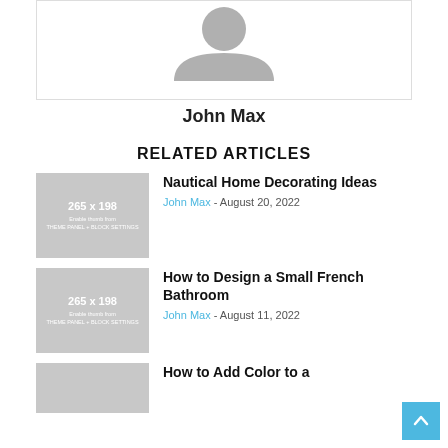[Figure (illustration): Default user avatar placeholder (grey silhouette on white background)]
John Max
RELATED ARTICLES
[Figure (illustration): Thumbnail placeholder 265 x 198, Enable thumb from THEME PANEL + BLOCK SETTINGS]
Nautical Home Decorating Ideas
John Max - August 20, 2022
[Figure (illustration): Thumbnail placeholder 265 x 198, Enable thumb from THEME PANEL + BLOCK SETTINGS]
How to Design a Small French Bathroom
John Max - August 11, 2022
[Figure (illustration): Thumbnail placeholder 265 x 198, Enable thumb from THEME PANEL + BLOCK SETTINGS]
How to Add Color to a